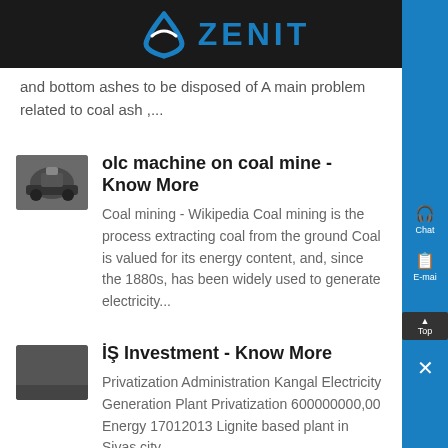ZENIT
and bottom ashes to be disposed of A main problem related to coal ash ,...
olc machine on coal mine - Know More
Coal mining - Wikipedia Coal mining is the process extracting coal from the ground Coal is valued for its energy content, and, since the 1880s, has been widely used to generate electricity...
İŞ Investment - Know More
Privatization Administration Kangal Electricity Generation Plant Privatization 600000000,00 Energy 17012013 Lignite based plant in Sivas city...